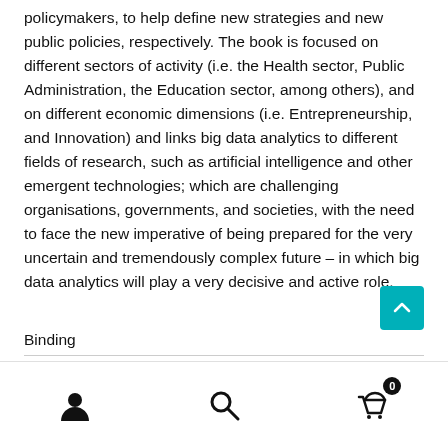policymakers, to help define new strategies and new public policies, respectively. The book is focused on different sectors of activity (i.e. the Health sector, Public Administration, the Education sector, among others), and on different economic dimensions (i.e. Entrepreneurship, and Innovation) and links big data analytics to different fields of research, such as artificial intelligence and other emergent technologies; which are challenging organisations, governments, and societies, with the need to face the new imperative of being prepared for the very uncertain and tremendously complex future – in which big data analytics will play a very decisive and active role.
Binding
[Figure (other): Teal/cyan scroll-to-top button with upward chevron arrow icon]
[Figure (other): Bottom navigation bar with user account icon, search icon, and shopping cart icon with badge showing 0]